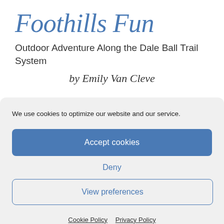Foothills Fun
Outdoor Adventure Along the Dale Ball Trail System
by Emily Van Cleve
We use cookies to optimize our website and our service.
Accept cookies
Deny
View preferences
Cookie Policy   Privacy Policy